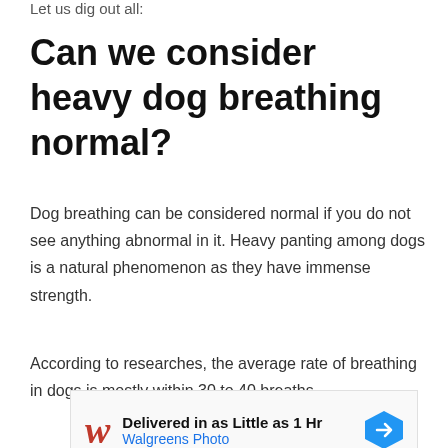Let us dig out all:
Can we consider heavy dog breathing normal?
Dog breathing can be considered normal if you do not see anything abnormal in it. Heavy panting among dogs is a natural phenomenon as they have immense strength.
According to researches, the average rate of breathing in dogs is mostly within 30 to 40 breaths
[Figure (other): Walgreens Photo advertisement banner: 'Delivered in as Little as 1 Hr' with Walgreens cursive logo and navigation arrow icon]